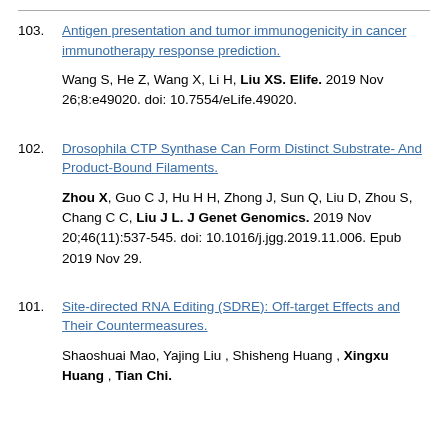103. Antigen presentation and tumor immunogenicity in cancer immunotherapy response prediction. Wang S, He Z, Wang X, Li H, Liu XS. Elife. 2019 Nov 26;8:e49020. doi: 10.7554/eLife.49020.
102. Drosophila CTP Synthase Can Form Distinct Substrate- And Product-Bound Filaments. Zhou X, Guo C J, Hu H H, Zhong J, Sun Q, Liu D, Zhou S, Chang C C, Liu J L. J Genet Genomics. 2019 Nov 20;46(11):537-545. doi: 10.1016/j.jgg.2019.11.006. Epub 2019 Nov 29.
101. Site-directed RNA Editing (SDRE): Off-target Effects and Their Countermeasures. Shaoshuai Mao, Yajing Liu , Shisheng Huang , Xingxu Huang , Tian Chi.